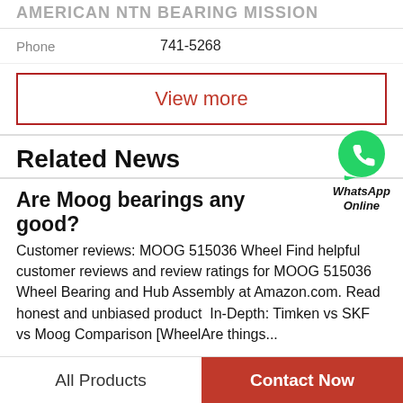AMERICAN NTN BEARING MISSION
Phone    741-5268
View more
Related News
[Figure (logo): WhatsApp green bubble icon with phone handset, labeled 'WhatsApp Online' in italic bold text]
Are Moog bearings any good?
Customer reviews: MOOG 515036 Wheel Find helpful customer reviews and review ratings for MOOG 515036 Wheel Bearing and Hub Assembly at Amazon.com. Read honest and unbiased product  In-Depth: Timken vs SKF vs Moog Comparison [WheelAre things...
All Products    Contact Now